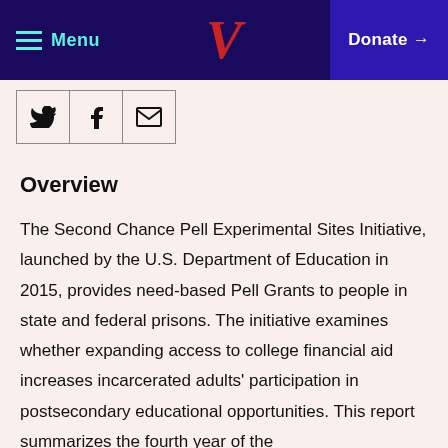Menu | V | Donate →
[Figure (other): Social share icons row: Twitter bird, Facebook f, and envelope/email icons in bordered boxes]
Overview
The Second Chance Pell Experimental Sites Initiative, launched by the U.S. Department of Education in 2015, provides need-based Pell Grants to people in state and federal prisons. The initiative examines whether expanding access to college financial aid increases incarcerated adults' participation in postsecondary educational opportunities. This report summarizes the fourth year of the